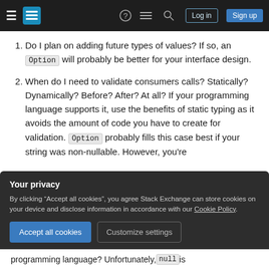Stack Exchange navigation bar with hamburger menu, logo, help, chat, search icons, Log in and Sign up buttons
Do I plan on adding future types of values? If so, an Option will probably be better for your interface design.
When do I need to validate consumers calls? Statically? Dynamically? Before? After? At all? If your programming language supports it, use the benefits of static typing as it avoids the amount of code you have to create for validation. Option probably fills this case best if your string was non-nullable. However, you're
Your privacy
By clicking "Accept all cookies", you agree Stack Exchange can store cookies on your device and disclose information in accordance with our Cookie Policy.
Accept all cookies  Customize settings
programming language? Unfortunately, null is